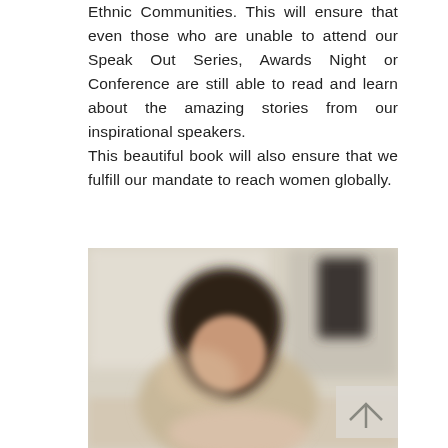Ethnic Communities. This will ensure that even those who are unable to attend our Speak Out Series, Awards Night or Conference are still able to read and learn about the amazing stories from our inspirational speakers.
This beautiful book will also ensure that we fulfill our mandate to reach women globally.
[Figure (photo): A blurred photograph of a person with dark hair, seated or standing near a table, in a light-colored indoor setting. A dark object is visible in the upper right area of the image.]